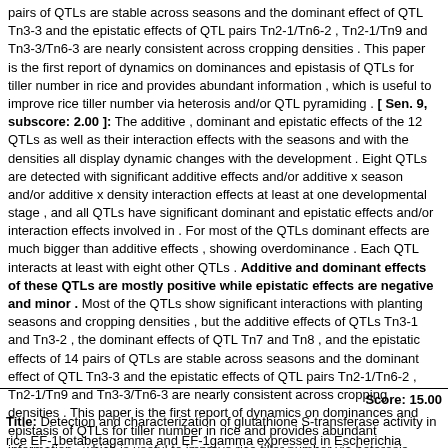pairs of QTLs are stable across seasons and the dominant effect of QTL Tn3-3 and the epistatic effects of QTL pairs Tn2-1/Tn6-2 , Tn2-1/Tn9 and Tn3-3/Tn6-3 are nearly consistent across cropping densities . This paper is the first report of dynamics on dominances and epistasis of QTLs for tiller number in rice and provides abundant information , which is useful to improve rice tiller number via heterosis and/or QTL pyramiding . [ Sen. 9, subscore: 2.00 ]: The additive , dominant and epistatic effects of the 12 QTLs as well as their interaction effects with the seasons and with the densities all display dynamic changes with the development . Eight QTLs are detected with significant additive effects and/or additive x season and/or additive x density interaction effects at least at one developmental stage , and all QTLs have significant dominant and epistatic effects and/or interaction effects involved in . For most of the QTLs dominant effects are much bigger than additive effects , showing overdominance . Each QTL interacts at least with eight other QTLs . Additive and dominant effects of these QTLs are mostly positive while epistatic effects are negative and minor . Most of the QTLs show significant interactions with planting seasons and cropping densities , but the additive effects of QTLs Tn3-1 and Tn3-2 , the dominant effects of QTL Tn7 and Tn8 , and the epistatic effects of 14 pairs of QTLs are stable across seasons and the dominant effect of QTL Tn3-3 and the epistatic effects of QTL pairs Tn2-1/Tn6-2 , Tn2-1/Tn9 and Tn3-3/Tn6-3 are nearly consistent across cropping densities . This paper is the first report of dynamics on dominances and epistasis of QTLs for tiller number in rice and provides abundant information , which is useful to improve rice tiller number via heterosis and/or QTL pyramiding .
Score: 15.00
Title: Detection and characterization of glutathione S-transferase activity in rice EF-1betabetagamma and EF-1gamma expressed in Escherichia